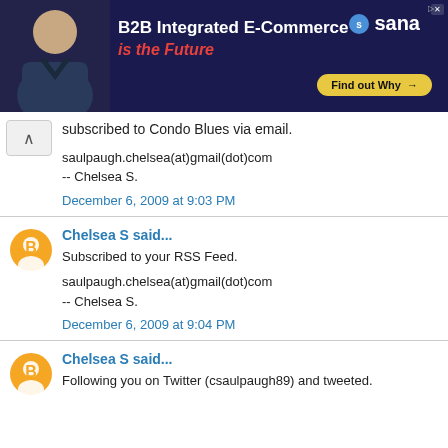[Figure (photo): Advertisement banner for Sana B2B Integrated E-Commerce with man photo, dark blue background, red and white text, yellow Find out Why button]
subscribed to Condo Blues via email.
saulpaugh.chelsea(at)gmail(dot)com
-- Chelsea S.
December 6, 2009 at 9:03 PM
Chelsea S said...
Subscribed to your RSS Feed.
saulpaugh.chelsea(at)gmail(dot)com
-- Chelsea S.
December 6, 2009 at 9:04 PM
Chelsea S said...
Following you on Twitter (csaulpaugh89) and tweeted.